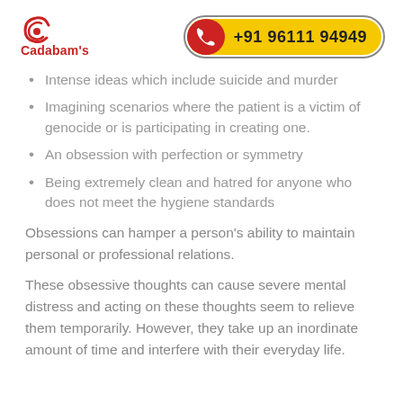Cadabam's | +91 96111 94949
Intense ideas which include suicide and murder
Imagining scenarios where the patient is a victim of genocide or is participating in creating one.
An obsession with perfection or symmetry
Being extremely clean and hatred for anyone who does not meet the hygiene standards
Obsessions can hamper a person's ability to maintain personal or professional relations.
These obsessive thoughts can cause severe mental distress and acting on these thoughts seem to relieve them temporarily. However, they take up an inordinate amount of time and interfere with their everyday life.